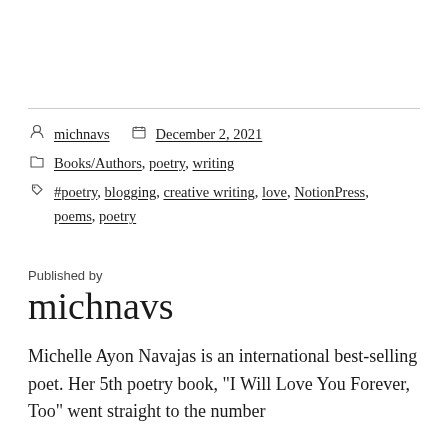michnavs   December 2, 2021
Books/Authors, poetry, writing
#poetry, blogging, creative writing, love, NotionPress, poems, poetry
Published by
michnavs
Michelle Ayon Navajas is an international best-selling poet. Her 5th poetry book, "I Will Love You Forever, Too" went straight to the number